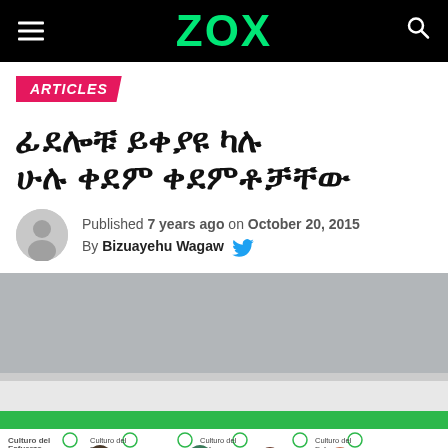ZOX
ARTICLES
ፊደሎቹ ይቀያዩ ካሉ ሁሉ ቀደም ቀደምቶቻቸው
Published 7 years ago on October 20, 2015
By Bizuayehu Wagaw
[Figure (photo): Athletes standing at an event venue with a green banner reading 'Cultura del Esfuerzo' and other logos visible]